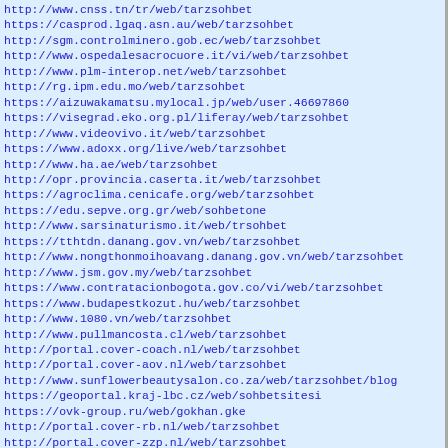http://www.cnss.tn/tr/web/tarzsohbet
https://casprod.lgaq.asn.au/web/tarzsohbet
http://sgm.controlminero.gob.ec/web/tarzsohbet
http://www.ospedalesacrocuore.it/vi/web/tarzsohbet
http://www.plm-interop.net/web/tarzsohbet
http://rg.ipm.edu.mo/web/tarzsohbet
https://aizuwakamatsu.mylocal.jp/web/user.46697860
https://visegrad.eko.org.pl/liferay/web/tarzsohbet
http://www.videovivo.it/web/tarzsohbet
https://www.adoxx.org/live/web/tarzsohbet
http://www.ha.ae/web/tarzsohbet
http://opr.provincia.caserta.it/web/tarzsohbet
https://agroclima.cenicafe.org/web/tarzsohbet
https://edu.sepve.org.gr/web/sohbetone
http://www.sarsinaturismo.it/web/trsohbet
https://tthtdn.danang.gov.vn/web/tarzsohbet
http://www.nongthonmoihoavang.danang.gov.vn/web/tarzsohbet
http://www.jsm.gov.my/web/tarzsohbet
https://www.contratacionbogota.gov.co/vi/web/tarzsohbet
https://www.budapestkozut.hu/web/tarzsohbet
http://www.1080.vn/web/tarzsohbet
http://www.pullmancosta.cl/web/tarzsohbet
http://portal.cover-coach.nl/web/tarzsohbet
http://portal.cover-aov.nl/web/tarzsohbet
http://www.sunflowerbeautysalon.co.za/web/tarzsohbet/blog
https://geoportal.kraj-lbc.cz/web/sohbetsitesi
https://ovk-group.ru/web/gokhan.gke
http://portal.cover-rb.nl/web/tarzsohbet
http://portal.cover-zzp.nl/web/tarzsohbet
http://fcsyp.mxl.uabc.mx/web/tarzsohbet